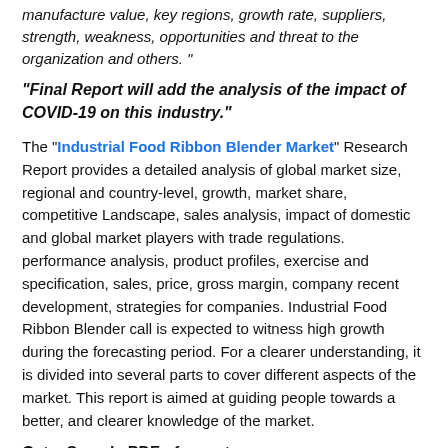manufacture value, key regions, growth rate, suppliers, strength, weakness, opportunities and threat to the organization and others. "
"Final Report will add the analysis of the impact of COVID-19 on this industry."
The "Industrial Food Ribbon Blender Market" Research Report provides a detailed analysis of global market size, regional and country-level, growth, market share, competitive Landscape, sales analysis, impact of domestic and global market players with trade regulations. performance analysis, product profiles, exercise and specification, sales, price, gross margin, company recent development, strategies for companies. Industrial Food Ribbon Blender call is expected to witness high growth during the forecasting period. For a clearer understanding, it is divided into several parts to cover different aspects of the market. This report is aimed at guiding people towards a better, and clearer knowledge of the market.
Get a Sample PDF of report
https://...